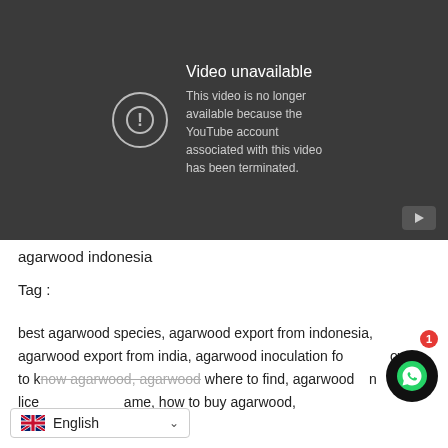[Figure (screenshot): YouTube video unavailable error screen: dark grey background with a warning icon (circle with exclamation mark) and text 'Video unavailable — This video is no longer available because the YouTube account associated with this video has been terminated.' A small play button icon appears in the bottom right.]
agarwood indonesia
Tag :
best agarwood species, agarwood export from indonesia, agarwood export from india, agarwood inoculation fo[rmula], how to k[now agarwood], agarwood where to find, agarwood [con]trol lice[nse], [product n]ame, how to buy agarwood,